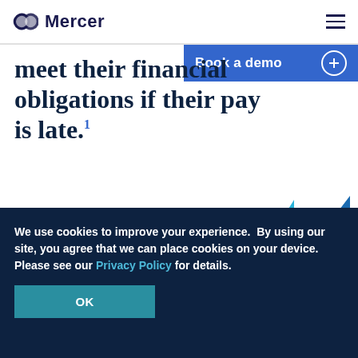Mercer
Book a demo
meet their financial obligations if their pay is late.¹
[Figure (illustration): Two blue decorative triangles in the lower right of the content area, forming a stylized double-chevron or mountain shape.]
We use cookies to improve your experience.  By using our site, you agree that we can place cookies on your device. Please see our Privacy Policy for details.
OK